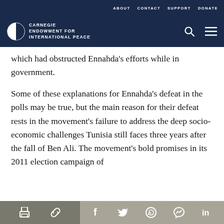ABOUT   CONTACT   SUPPORT   DONATE
[Figure (logo): Carnegie Endowment for International Peace logo with globe icon and navigation icons (search, menu)]
which had obstructed Ennahda's efforts while in government.
Some of these explanations for Ennahda's defeat in the polls may be true, but the main reason for their defeat rests in the movement's failure to address the deep socio-economic challenges Tunisia still faces three years after the fall of Ben Ali. The movement's bold promises in its 2011 election campaign of
Share icons: print, link, facebook, twitter, whatsapp, messenger, linkedin